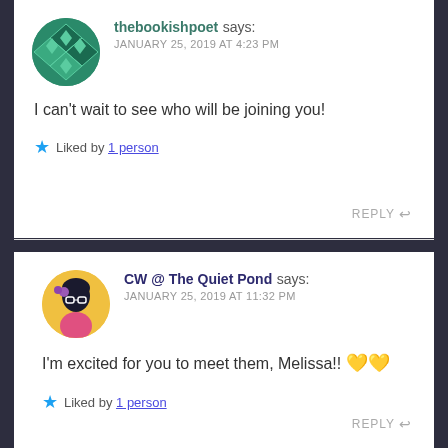thebookishpoet says: JANUARY 25, 2019 AT 4:23 PM
I can't wait to see who will be joining you!
Liked by 1 person
REPLY
CW @ The Quiet Pond says: JANUARY 25, 2019 AT 11:32 PM
I'm excited for you to meet them, Melissa!! 💛💛
Liked by 1 person
REPLY